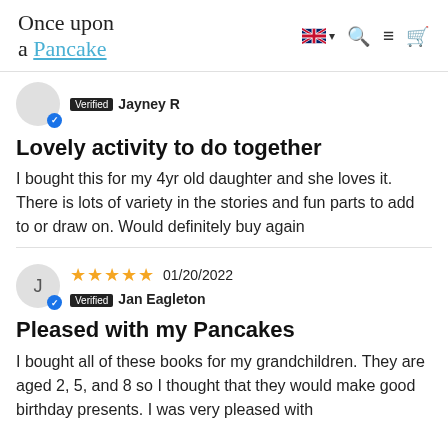Once upon a Pancake
Verified  Jayney R
Lovely activity to do together
I bought this for my 4yr old daughter and she loves it. There is lots of variety in the stories and fun parts to add to or draw on. Would definitely buy again
★★★★★  01/20/2022
Verified  Jan Eagleton
Pleased with my Pancakes
I bought all of these books for my grandchildren. They are aged 2, 5, and 8 so I thought that they would make good birthday presents. I was very pleased with